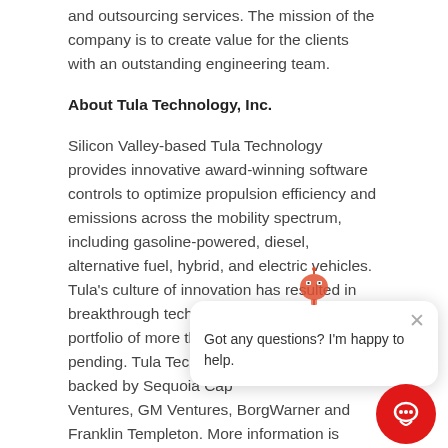and outsourcing services. The mission of the company is to create value for the clients with an outstanding engineering team.
About Tula Technology, Inc.
Silicon Valley-based Tula Technology provides innovative award-winning software controls to optimize propulsion efficiency and emissions across the mobility spectrum, including gasoline-powered, diesel, alternative fuel, hybrid, and electric vehicles. Tula’s culture of innovation has resulted in breakthrough technologies, including a patent portfolio of more than 3[...] pending. Tula Technology [...] backed by Sequoia Cap[...] Ventures, GM Ventures, BorgWarner and Franklin Templeton. More information is available at www.tulatech.com.